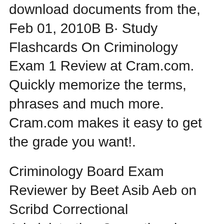download documents from the, Feb 01, 2010B B· Study Flashcards On Criminology Exam 1 Review at Cram.com. Quickly memorize the terms, phrases and much more. Cram.com makes it easy to get the grade you want!.
Criminology Board Exam Reviewer by Beet Asib Aeb on Scribd Correctional Administration Correctional Administration Q & A by Clarito Lopez on Scribd. Compilation of University of the Philippines Admission Test or UPCAT reviewers that are available online in PDF Mathematics, Science,... Science, Biology Reviewer Part 1 Criminology is a branch of science that deals with